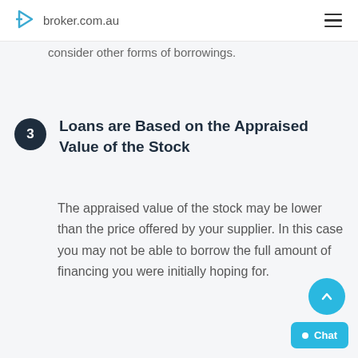broker.com.au
consider other forms of borrowings.
Loans are Based on the Appraised Value of the Stock
The appraised value of the stock may be lower than the price offered by your supplier. In this case you may not be able to borrow the full amount of financing you were initially hoping for.